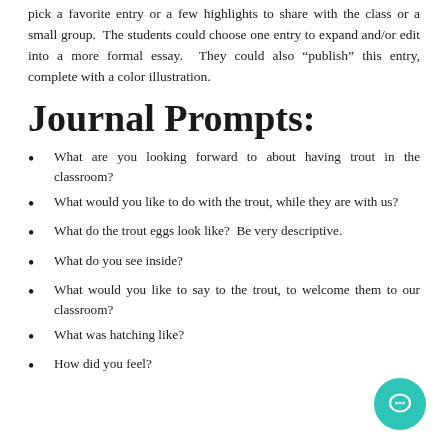pick a favorite entry or a few highlights to share with the class or a small group.  The students could choose one entry to expand and/or edit into a more formal essay.  They could also “publish” this entry, complete with a color illustration.
Journal Prompts:
What are you looking forward to about having trout in the classroom?
What would you like to do with the trout, while they are with us?
What do the trout eggs look like?  Be very descriptive.
What do you see inside?
What would you like to say to the trout, to welcome them to our classroom?
What was hatching like?
How did you feel?